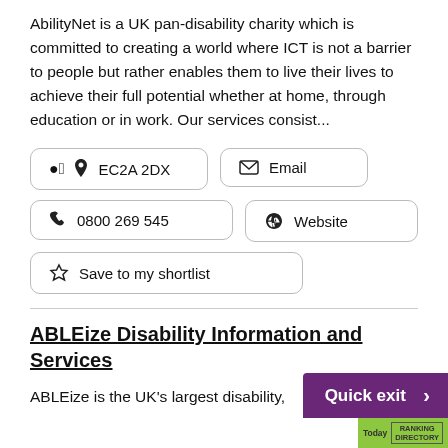AbilityNet is a UK pan-disability charity which is committed to creating a world where ICT is not a barrier to people but rather enables them to live their lives to achieve their full potential whether at home, through education or in work. Our services consist...
EC2A 2DX
Email
0800 269 545
Website
Save to my shortlist
ABLEize Disability Information and Services
ABLEize is the UK's largest disability,